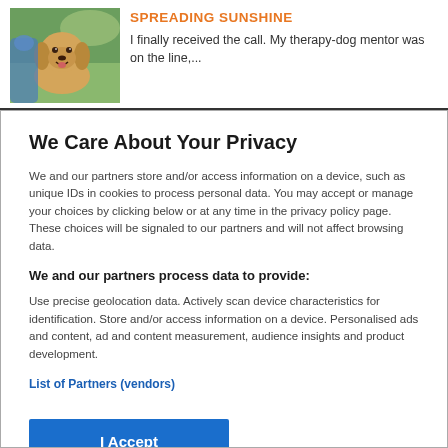[Figure (photo): Photo of a golden retriever dog outdoors with a person, nature background]
SPREADING SUNSHINE
I finally received the call. My therapy-dog mentor was on the line,...
We Care About Your Privacy
We and our partners store and/or access information on a device, such as unique IDs in cookies to process personal data. You may accept or manage your choices by clicking below or at any time in the privacy policy page. These choices will be signaled to our partners and will not affect browsing data.
We and our partners process data to provide:
Use precise geolocation data. Actively scan device characteristics for identification. Store and/or access information on a device. Personalised ads and content, ad and content measurement, audience insights and product development.
List of Partners (vendors)
I Accept